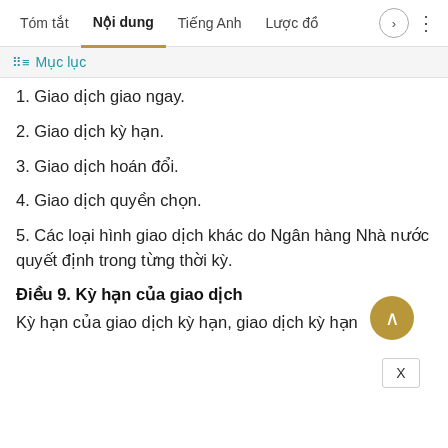Tóm tắt | Nội dung | Tiếng Anh | Lược đồ
Mục lục
1. Giao dịch giao ngay.
2. Giao dịch kỳ hạn.
3. Giao dịch hoán đổi.
4. Giao dịch quyền chọn.
5. Các loại hình giao dịch khác do Ngân hàng Nhà nước quyết định trong từng thời kỳ.
Điều 9. Kỳ hạn của giao dịch
Kỳ hạn của giao dịch kỳ hạn, giao dịch kỳ hạn